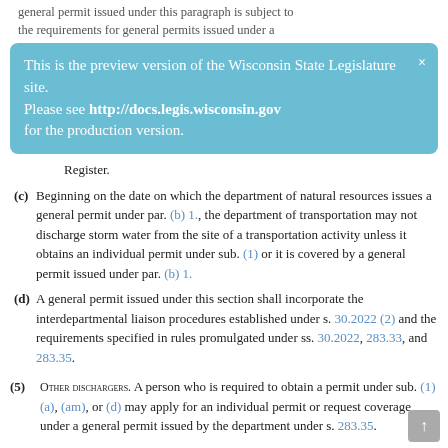general permit issued under this paragraph is subject to the requirements for general permits issued under a
This is the preview version of the Wisconsin State Legislature site. Please see http://docs.legis.wisconsin.gov for the production version.
Register.
(c) Beginning on the date on which the department of natural resources issues a general permit under par. (b) 1., the department of transportation may not discharge storm water from the site of a transportation activity unless it obtains an individual permit under sub. (1) or it is covered by a general permit issued under par. (b) 1.
(d) A general permit issued under this section shall incorporate the interdepartmental liaison procedures established under s. 30.2022 (2) and the requirements specified in rules promulgated under ss. 30.2022, 283.33, and 283.35.
(5) Other dischargers. A person who is required to obtain a permit under sub. (1) (a), (am), or (d) may apply for an individual permit or request coverage under a general permit issued by the department under s. 283.35.
(6) Other coverage.
(a) A municipal separate storm sewer system that is combined with a sanitary sewer system is not required to be covered...